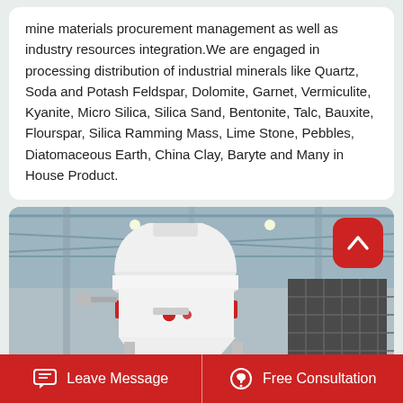mine materials procurement management as well as industry resources integration.We are engaged in processing distribution of industrial minerals like Quartz, Soda and Potash Feldspar, Dolomite, Garnet, Vermiculite, Kyanite, Micro Silica, Silica Sand, Bentonite, Talc, Bauxite, Flourspar, Silica Ramming Mass, Lime Stone, Pebbles, Diatomaceous Earth, China Clay, Baryte and Many in House Product.
[Figure (photo): Industrial cone crusher machine in a warehouse/factory setting with steel roof structure visible in background. The machine is white and red colored, large cylindrical industrial crusher mounted on a frame.]
Leave Message   Free Consultation